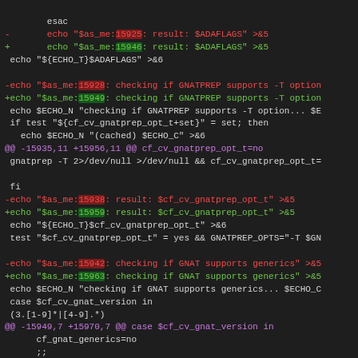diff code block showing git diff output with line additions and removals for configure script, showing line number changes from ~15925 range to ~15973 range